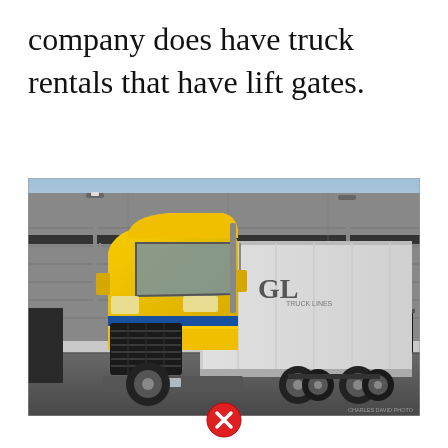company does have truck rentals that have lift gates.
[Figure (photo): A yellow Penske semi-truck with a white trailer (labeled GL) parked in front of a gray warehouse building with a loading dock. The truck is a Freightliner Cascadia with blue and yellow stripes.]